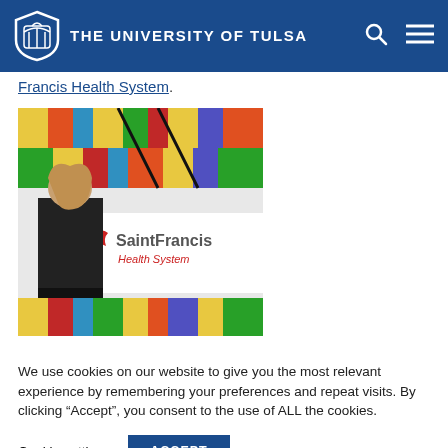THE UNIVERSITY OF TULSA
Francis Health System.
[Figure (photo): A woman in black scrubs standing in front of a Saint Francis Health System banner with colorful stained-glass-style artwork in the background.]
We use cookies on our website to give you the most relevant experience by remembering your preferences and repeat visits. By clicking “Accept”, you consent to the use of ALL the cookies.
Cookie settings  ACCEPT